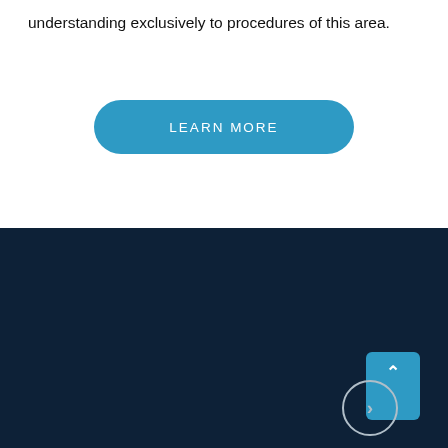understanding exclusively to procedures of this area.
LEARN MORE
Out Of Town?
OVER 100 MILES AWAY
Schedule A Virtual Consultation